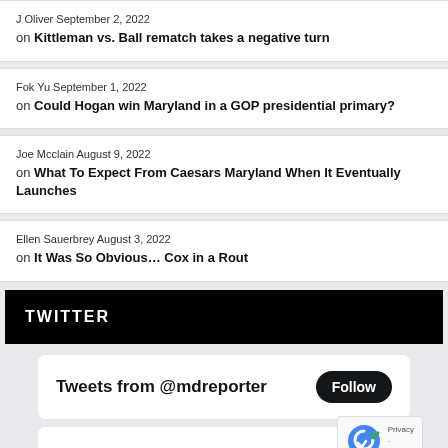J Oliver September 2, 2022 on Kittleman vs. Ball rematch takes a negative turn
Fok Yu September 1, 2022 on Could Hogan win Maryland in a GOP presidential primary?
Joe Mcclain August 9, 2022 on What To Expect From Caesars Maryland When It Eventually Launches
Ellen Sauerbrey August 3, 2022 on It Was So Obvious… Cox in a Rout
TWITTER
[Figure (screenshot): Twitter widget showing 'Tweets from @mdreporter' with a Follow button]